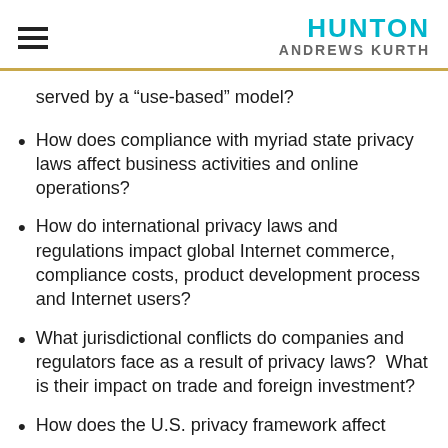HUNTON ANDREWS KURTH
served by a “use-based” model?
How does compliance with myriad state privacy laws affect business activities and online operations?
How do international privacy laws and regulations impact global Internet commerce, compliance costs, product development process and Internet users?
What jurisdictional conflicts do companies and regulators face as a result of privacy laws?  What is their impact on trade and foreign investment?
How does the U.S. privacy framework affect